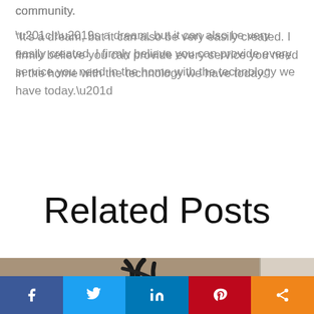community.
“It’s a dream, but it can also be very easily created. I firmly believe you can provide every service you need in the home with the technology we have today.”
Related Posts
[Figure (photo): Partial view of artwork or object with dark brush strokes on a warm brown/tan background, with a lighter panel visible on the right side.]
[Figure (infographic): Social sharing bar with buttons for Facebook, Twitter, LinkedIn, Pinterest, and a generic share icon.]